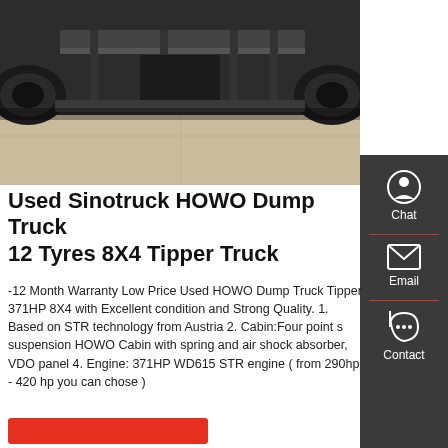[Figure (photo): Undercarriage view of a Sinotruck HOWO dump truck, showing axles, chassis, tires, and concrete ground below]
Used Sinotruck HOWO Dump Truck 12 Tyres 8X4 Tipper Truck
-12 Month Warranty Low Price Used HOWO Dump Truck Tipper 371HP 8X4 with Excellent condition and Strong Quality. 1. Based on STR technology from Austria 2. Cabin:Four point s suspension HOWO Cabin with spring and air shock absorber, VDO panel 4. Engine: 371HP WD615 STR engine ( from 290hp - 420 hp you can chose )